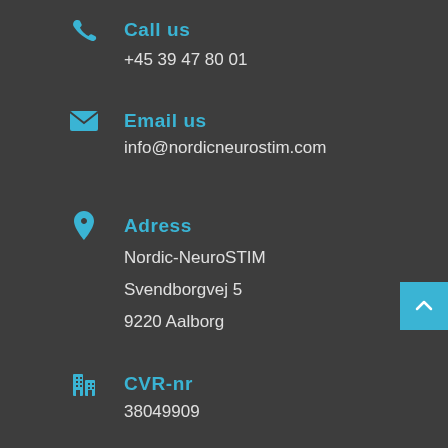Call us
+45 39 47 80 01
Email us
info@nordicneurostim.com
Adress
Nordic-NeuroSTIM
Svendborgvej 5
9220 Aalborg
CVR-nr
38049909